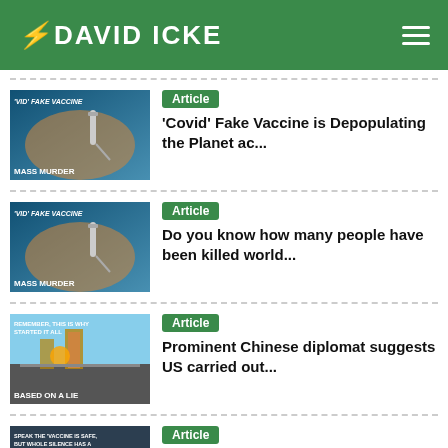DAVID ICKE
Article — 'Covid' Fake Vaccine is Depopulating the Planet ac...
Article — Do you know how many people have been killed world...
Article — Prominent Chinese diplomat suggests US carried out...
Article — Rock Singer's Fatal Brain Injury Caused by Astra...